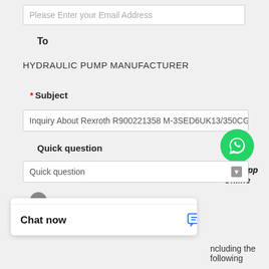Please Enter your Email Address
To
HYDRAULIC PUMP MANUFACTURER
* Subject
Inquiry About Rexroth R900221358 M-3SED6UK13/350CG2
Quick question
Quick question
[Figure (logo): WhatsApp green phone icon with 'WhatsApp Online' text]
* Message
Hello, how may I help you?
Chat now
including the following